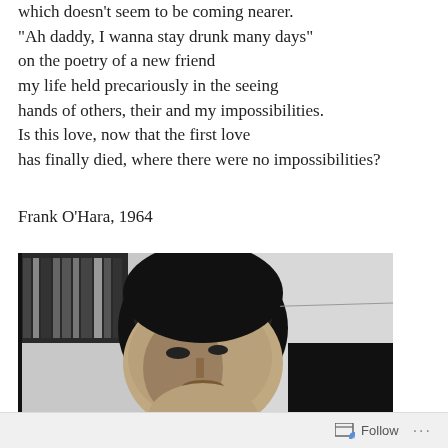which doesn't seem to be coming nearer.
"Ah daddy, I wanna stay drunk many days"
on the poetry of a new friend
my life held precariously in the seeing
hands of others, their and my impossibilities.
Is this love, now that the first love
has finally died, where there were no impossibilities?
Frank O'Hara, 1964
[Figure (photo): Black and white photograph of a man with dark hair, looking downward, with bookshelves visible in the background. The photo appears to be of Frank O'Hara.]
Follow ···